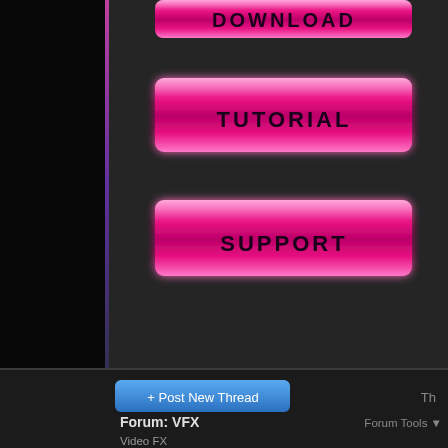[Figure (screenshot): Dark themed website/forum page showing pink glossy TUTORIAL and SUPPORT buttons at top, followed by a forum section with '+ Post New Thread' button, 'Forum: VFX / Video FX' header, a table header with 'Title / Thread Starter' and 'Replies / Views' columns, a message 'There are no posts in this forum.', another '+ Post New Thread' button, 'Quick Navigation', and 'Thread Display Options' bar at bottom.]